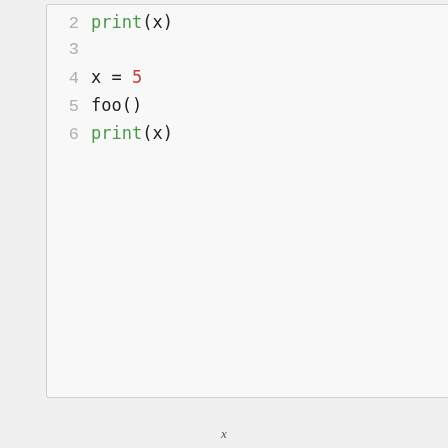[Figure (screenshot): Code editor screenshot showing Python code with syntax highlighting. Lines 2-6 visible. Line 2: print(x) in green. Line 3: empty. Line 4: x = 5 with x in black, = in black, 5 in red/purple. Line 5: foo() in black. Line 6: print(x) in green.]
x